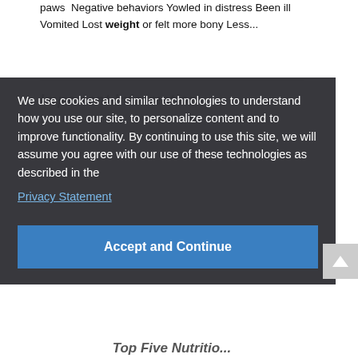paws  Negative behaviors Yowled in distress Been ill Vomited Lost weight or felt more bony Less...
Important Information
We use cookies and similar technologies to understand how you use our site, to personalize content and to improve functionality. By continuing to use this site, we will assume you agree with our use of these technologies as described in the
Privacy Statement
Accept and Continue
Top Five Nutritio...